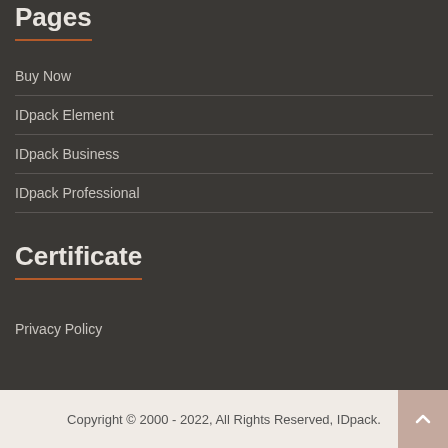Pages
Buy Now
IDpack Element
IDpack Business
IDpack Professional
Certificate
Privacy Policy
Copyright © 2000 - 2022, All Rights Reserved, IDpack.